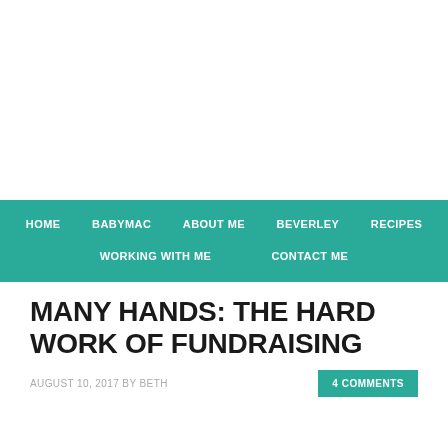HOME   BABYMAC   ABOUT ME   BEVERLEY   RECIPES   WORKING WITH ME   CONTACT ME
MANY HANDS: THE HARD WORK OF FUNDRAISING
AUGUST 10, 2017 BY BETH
4 COMMENTS